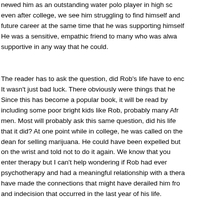newed him as an outstanding water polo player in high sc even after college, we see him struggling to find himself and future career at the same time that he was supporting himself He was a sensitive, empathic friend to many who was alwa supportive in any way that he could.
The reader has to ask the question, did Rob's life have to en It wasn't just bad luck. There obviously were things that he Since this has become a popular book, it will be read by including some poor bright kids like Rob, probably many Afr men. Most will probably ask this same question, did his life that it did? At one point while in college, he was called on the dean for selling marijuana. He could have been expelled but on the wrist and told not to do it again. We know that you enter therapy but I can't help wondering if Rob had ever psychotherapy and had a meaningful relationship with a thera have made the connections that might have derailed him fro and indecision that occurred in the last year of his life.